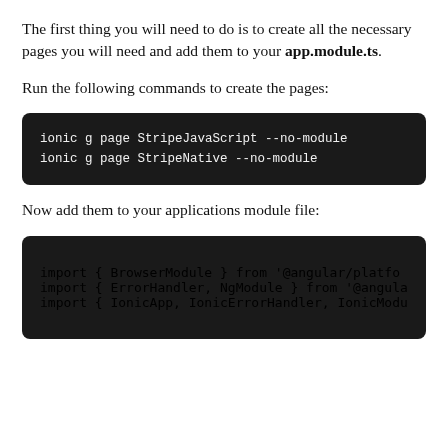The first thing you will need to do is to create all the necessary pages you will need and add them to your app.module.ts.
Run the following commands to create the pages:
ionic g page StripeJavaScript --no-module
ionic g page StripeNative --no-module
Now add them to your applications module file:
import { BrowserModule } from '@angular/platfo
import { ErrorHandler, NgModule } from '@angula
import { IonicApp, IonicErrorHandler, IonicModu